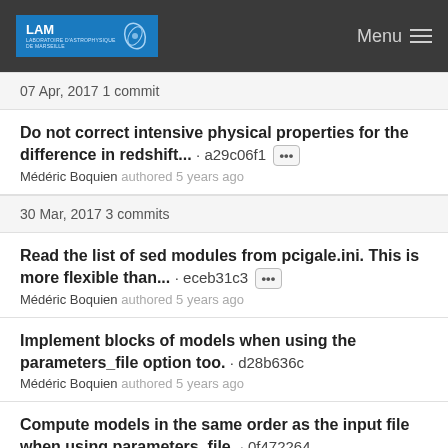LAM | Menu
07 Apr, 2017 1 commit
Do not correct intensive physical properties for the difference in redshift... · a29c06f1 ··· Médéric Boquien authored 5 years ago
30 Mar, 2017 3 commits
Read the list of sed modules from pcigale.ini. This is more flexible than... · eceb31c3 ··· Médéric Boquien authored 5 years ago
Implement blocks of models when using the parameters_file option too. · d28b636c Médéric Boquien authored 5 years ago
Compute models in the same order as the input file when using parameters_file. · 0f472264 Médéric Boquien authored 5 years ago